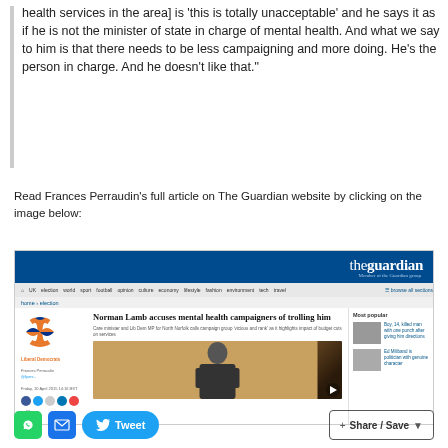health services in the area] is 'this is totally unacceptable' and he says it as if he is not the minister of state in charge of mental health. And what we say to him is that there needs to be less campaigning and more doing. He's the person in charge. And he doesn't like that."
Read Frances Perraudin's full article on The Guardian website by clicking on the image below:
[Figure (screenshot): Screenshot of The Guardian website showing article headline: 'Norman Lamb accuses mental health campaigners of trolling him' with Liberal Democrats logo and photo of Norman Lamb]
Share / Save buttons: WhatsApp, Email, Tweet, Share/Save